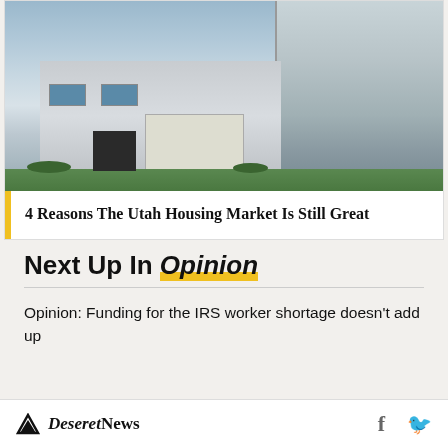[Figure (photo): Exterior photo of a new suburban home with blue-grey siding, white stone accents, double garage, and green landscaping. Split into two panels.]
4 Reasons The Utah Housing Market Is Still Great
Next Up In Opinion
Opinion: Funding for the IRS worker shortage doesn't add up
Deseret News